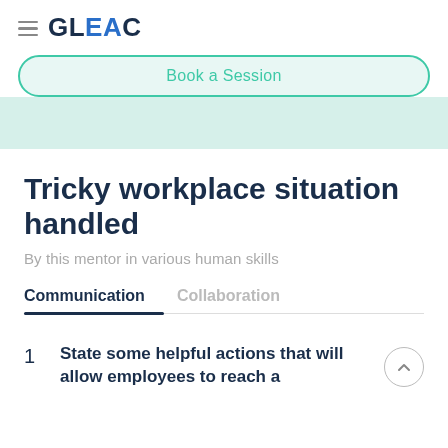GLEAC
Book a Session
Tricky workplace situation handled
By this mentor in various human skills
Communication   Collaboration
1  State some helpful actions that will allow employees to reach a